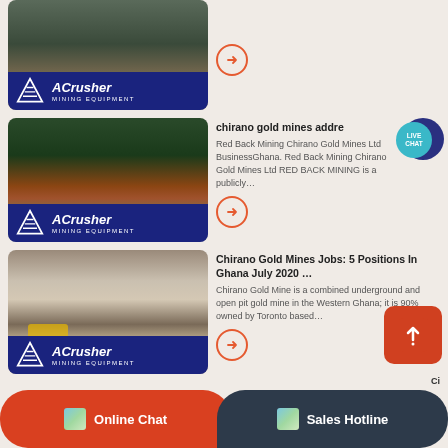[Figure (photo): Mining equipment image row 1 with ACrusher Mining Equipment logo badge]
[Figure (photo): Mining conveyor/equipment image with mountains in background, ACrusher Mining Equipment logo]
chirano gold mines addre
Red Back Mining Chirano Gold Mines Ltd BusinessGhana. Red Back Mining Chirano Gold Mines Ltd RED BACK MINING is a publicly…
[Figure (photo): Open pit gold mine with yellow bulldozer, ACrusher Mining Equipment logo]
Chirano Gold Mines Jobs: 5 Positions In Ghana July 2020 …
Chirano Gold Mine is a combined underground and open pit gold mine in the Western Ghana; it is 90% owned by Toronto based…
Online Chat
Sales Hotline